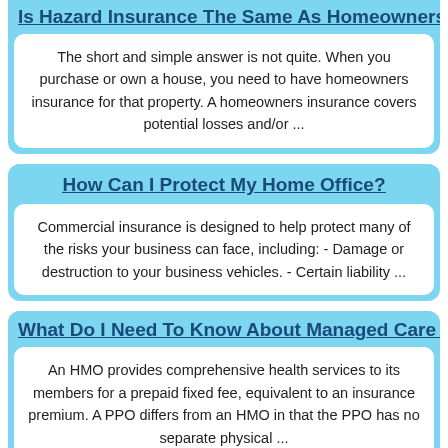Is Hazard Insurance The Same As Homeowners Insu...
The short and simple answer is not quite. When you purchase or own a house, you need to have homeowners insurance for that property. A homeowners insurance covers potential losses and/or ...
How Can I Protect My Home Office?
Commercial insurance is designed to help protect many of the risks your business can face, including: - Damage or destruction to your business vehicles. - Certain liability ...
What Do I Need To Know About Managed Care Insu...
An HMO provides comprehensive health services to its members for a prepaid fixed fee, equivalent to an insurance premium. A PPO differs from an HMO in that the PPO has no separate physical ...